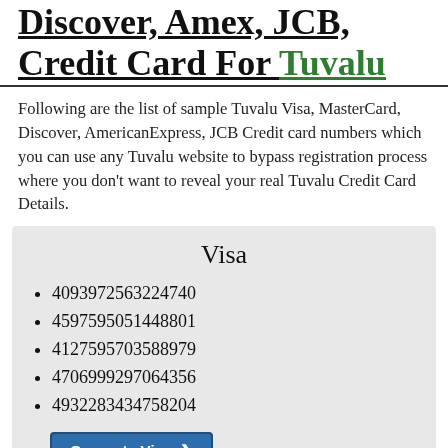Discover, Amex, JCB, Credit Card For Tuvalu
Following are the list of sample Tuvalu Visa, MasterCard, Discover, AmericanExpress, JCB Credit card numbers which you can use any Tuvalu website to bypass registration process where you don't want to reveal your real Tuvalu Credit Card Details.
Visa
4093972563224740
4597595051448801
4127595703588979
4706999297064356
4932283434758204
MasterCard
5242691713770009